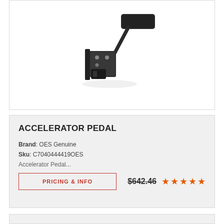[Figure (photo): Accelerator pedal assembly — dark metal bracket with pedal arm and rubber pad, photographed against white background]
ACCELERATOR PEDAL
Brand: OES Genuine
Sku: C7040444419OES
Accelerator Pedal...
PRICING & INFO   $642.46   ★★★★★